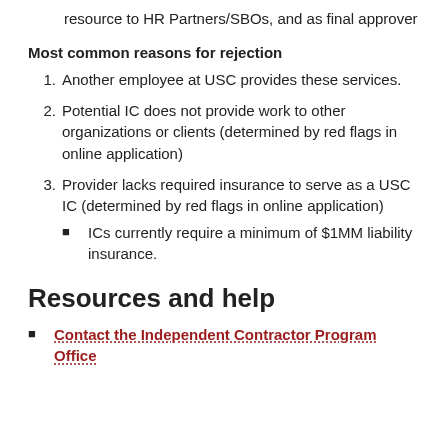resource to HR Partners/SBOs, and as final approver
Most common reasons for rejection
Another employee at USC provides these services.
Potential IC does not provide work to other organizations or clients (determined by red flags in online application)
Provider lacks required insurance to serve as a USC IC (determined by red flags in online application)
ICs currently require a minimum of $1MM liability insurance.
Resources and help
Contact the Independent Contractor Program Office